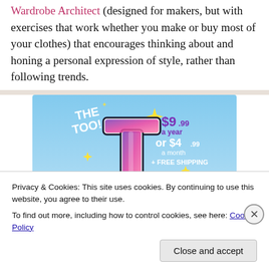Wardrobe Architect (designed for makers, but with exercises that work whether you make or buy most of your clothes) that encourages thinking about and honing a personal expression of style, rather than following trends.
[Figure (infographic): Advertisement for a subscription service showing a stylized pink and purple letter T logo with yellow sparkles on a blue sky background. Text reads: THE TOO! and or $4.99 a month + FREE SHIPPING and a year]
Privacy & Cookies: This site uses cookies. By continuing to use this website, you agree to their use.
To find out more, including how to control cookies, see here: Cookie Policy
Close and accept